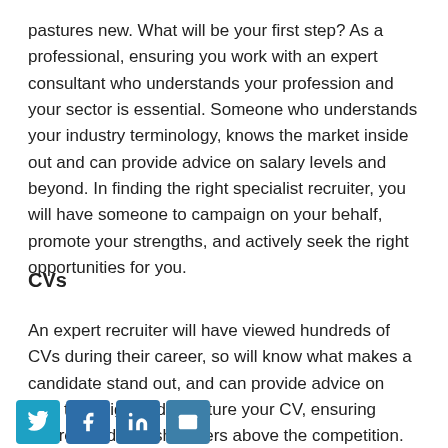pastures new. What will be your first step? As a professional, ensuring you work with an expert consultant who understands your profession and your sector is essential. Someone who understands your industry terminology, knows the market inside out and can provide advice on salary levels and beyond. In finding the right specialist recruiter, you will have someone to campaign on your behalf, promote your strengths, and actively seek the right opportunities for you.
CVs
An expert recruiter will have viewed hundreds of CVs during their career, so will know what makes a candidate stand out, and can provide advice on how to design and structure your CV, ensuring you're head and shoulders above the competition.
[Figure (other): Social sharing buttons: Twitter, Facebook, LinkedIn, Email]